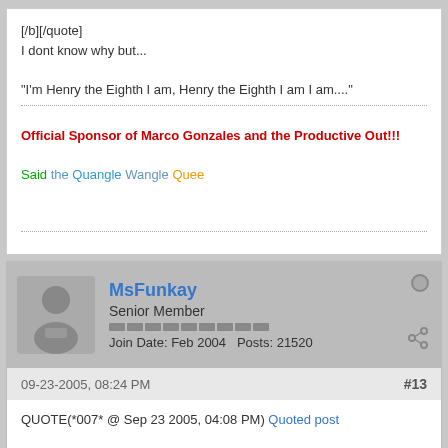[/b][/quote]
I dont know why but...
"I'm Henry the Eighth I am, Henry the Eighth I am I am...."
Official Sponsor of Marco Gonzales and the Productive Out!!!
Said the Quangle Wangle Quee
MsFunkay
Senior Member
Join Date: Feb 2004   Posts: 21520
09-23-2005, 08:24 PM
#13
QUOTE(*007* @ Sep 23 2005, 04:08 PM) Quoted post
[/b][/quote]
george wanted to ride his bike and talk about god, but god decided to